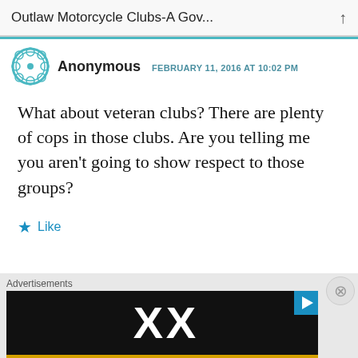Outlaw Motorcycle Clubs-A Gov...
Anonymous  FEBRUARY 11, 2016 AT 10:02 PM
What about veteran clubs? There are plenty of cops in those clubs. Are you telling me you aren't going to show respect to those groups?
Like
Advertisements
[Figure (screenshot): Advertisement banner with colorful overlapping shapes and partial text reading CEBOOK]
Advertisements
[Figure (screenshot): Video advertisement with black background showing large white X letters and a blue play button]